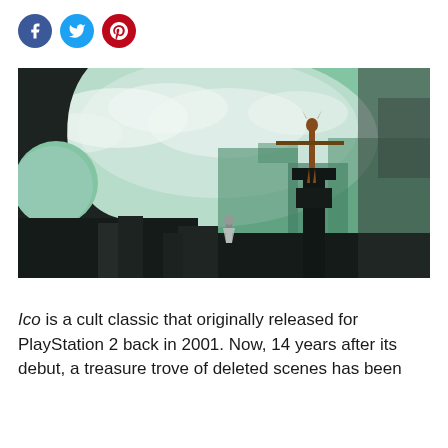[Figure (other): Social media sharing icons: Facebook (blue circle), Twitter (blue circle), Pinterest (red circle)]
[Figure (screenshot): Screenshot from the video game Ico showing a silhouetted figure with horns standing on a tall stone pedestal holding a sword horizontally, with another figure visible below. The background shows a green-tinted sky with clouds and stone ruins/castle walls.]
Ico is a cult classic that originally released for PlayStation 2 back in 2001. Now, 14 years after its debut, a treasure trove of deleted scenes has been